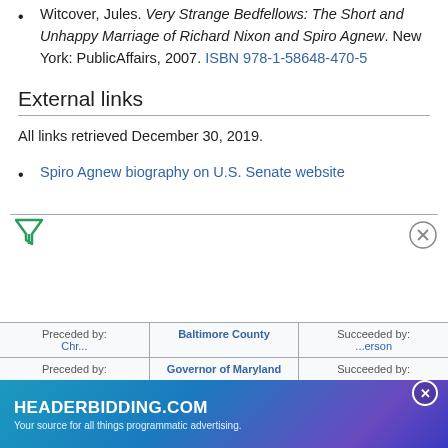Witcover, Jules. Very Strange Bedfellows: The Short and Unhappy Marriage of Richard Nixon and Spiro Agnew. New York: PublicAffairs, 2007. ISBN 978-1-58648-470-5
External links
All links retrieved December 30, 2019.
Spiro Agnew biography on U.S. Senate website
[Figure (other): Filter icon (funnel) in teal/green at bottom left of page]
[Figure (other): Close icon (X in circle) at bottom right]
| Preceded by: | Baltimore County | Succeeded by: |
| --- | --- | --- |
| Chr... |  | ...erson |
[Figure (other): HEADERBIDDING.COM advertisement banner with text 'Your source for all things programmatic advertising.']
| Preceded by: | Governor of Maryland | Succeeded by: |
| --- | --- | --- |